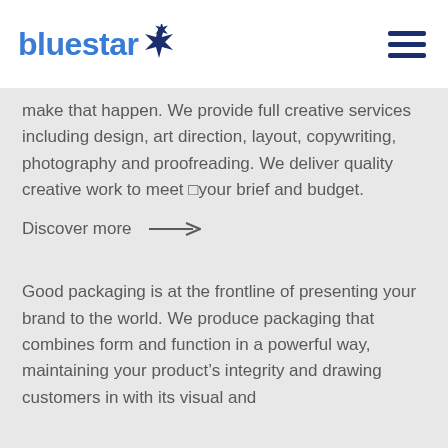bluestar
make that happen. We provide full creative services including design, art direction, layout, copywriting, photography and proofreading. We deliver quality creative work to meet □your brief and budget.
Discover more →
Good packaging is at the frontline of presenting your brand to the world. We produce packaging that combines form and function in a powerful way, maintaining your product’s integrity and drawing customers in with its visual and